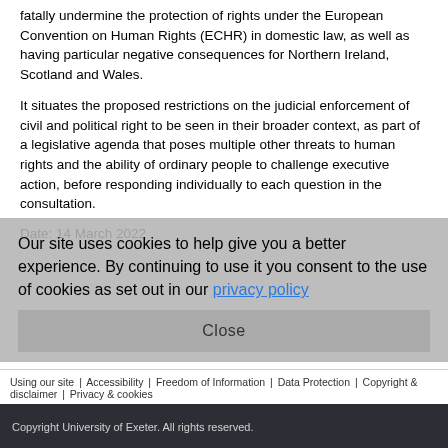fatally undermine the protection of rights under the European Convention on Human Rights (ECHR) in domestic law, as well as having particular negative consequences for Northern Ireland, Scotland and Wales.
It situates the proposed restrictions on the judicial enforcement of civil and political right to be seen in their broader context, as part of a legislative agenda that poses multiple other threats to human rights and the ability of ordinary people to challenge executive action, before responding individually to each question in the consultation.
Date: 14 March 2022
Our site uses cookies to help give you a better experience. By continuing to use it you consent to the use of cookies as set out in our privacy policy
Using our site | Accessibility | Freedom of Information | Data Protection | Copyright & disclaimer | Privacy & cookies
Copyright University of Exeter. All rights reserved.